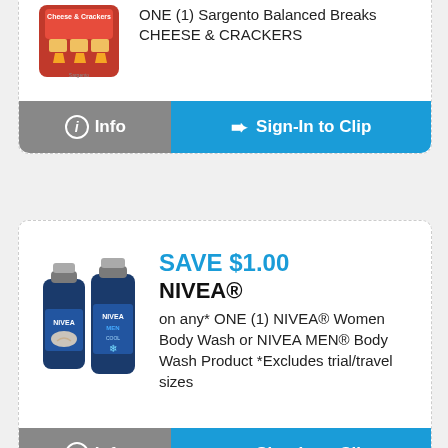[Figure (photo): Sargento Balanced Breaks Cheese & Crackers product image]
ONE (1) Sargento Balanced Breaks CHEESE & CRACKERS
Info | Sign-In to Clip (button bar)
[Figure (photo): Two NIVEA body wash bottles]
SAVE $1.00 NIVEA® on any* ONE (1) NIVEA® Women Body Wash or NIVEA MEN® Body Wash Product *Excludes trial/travel sizes
Info | Sign-In to Clip (button bar)